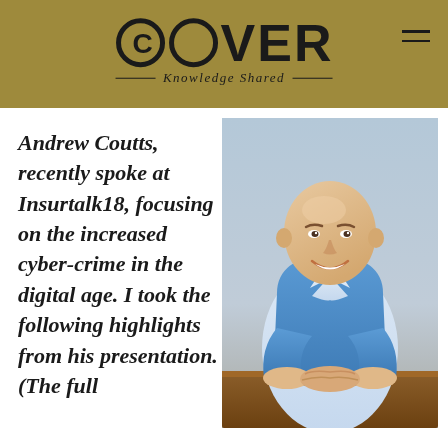COVER Knowledge Shared
Andrew Coutts, recently spoke at Insurtalk18, focusing on the increased cyber-crime in the digital age. I took the following highlights from his presentation. (The full
[Figure (photo): Professional headshot of Andrew Coutts, a bald man smiling, wearing a blue vest over a white shirt, seated at a table with hands clasped.]